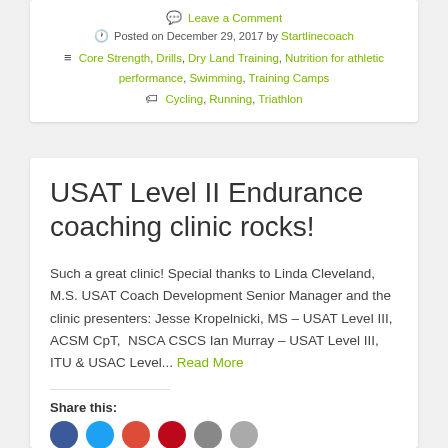Leave a Comment
Posted on December 29, 2017 by Startlinecoach
Core Strength, Drills, Dry Land Training, Nutrition for athletic performance, Swimming, Training Camps
Cycling, Running, Triathlon
USAT Level II Endurance coaching clinic rocks!
Such a great clinic! Special thanks to Linda Cleveland, M.S. USAT Coach Development Senior Manager and the clinic presenters: Jesse Kropelnicki, MS – USAT Level III, ACSM CpT,  NSCA CSCS Ian Murray – USAT Level III, ITU & USAC Level... Read More
Share this: